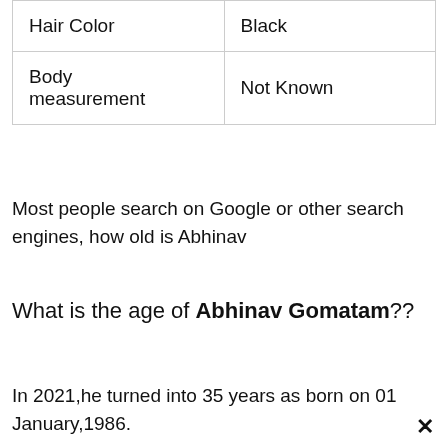| Hair Color | Black |
| Body measurement | Not Known |
Most people search on Google or other search engines, how old is Abhinav
What is the age of Abhinav Gomatam??
In 2021,he turned into 35 years as born on 01 January,1986.